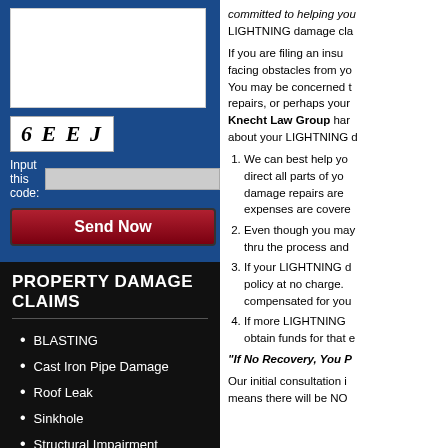[Figure (screenshot): Web form with textarea, CAPTCHA image showing '6EEJ', code input field, and Send Now button on blue background]
PROPERTY DAMAGE CLAIMS
BLASTING
Cast Iron Pipe Damage
Roof Leak
Sinkhole
Structural Impairment
Settling or Cracking
committed to helping you... LIGHTNING damage cla...
If you are filing an insu... facing obstacles from yo... You may be concerned ... repairs, or perhaps your... Knecht Law Group har... about your LIGHTNING d...
We can best help yo... direct all parts of yo... damage repairs are ... expenses are covere...
Even though you may... thru the process and ...
If your LIGHTNING d... policy at no charge. ... compensated for you...
If more LIGHTNING ... obtain funds for that e...
"If No Recovery, You P...
Our initial consultation i... means there will be NO ...